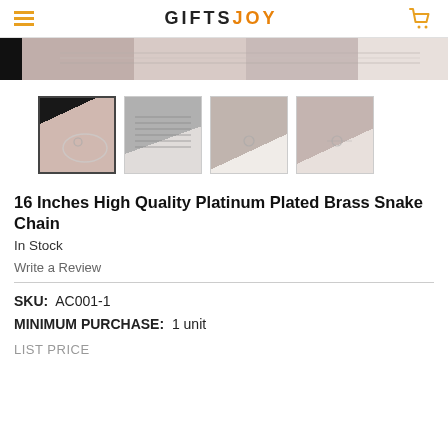GIFTSJOY
[Figure (photo): Top portion of product image showing jewelry/chain necklace close-up]
[Figure (photo): Four product thumbnail images: hand holding chain loop, coiled chain bundle, hand with small chain, hand with chain clasp]
16 Inches High Quality Platinum Plated Brass Snake Chain
In Stock
Write a Review
SKU:  AC001-1
MINIMUM PURCHASE:  1 unit
LIST PRICE